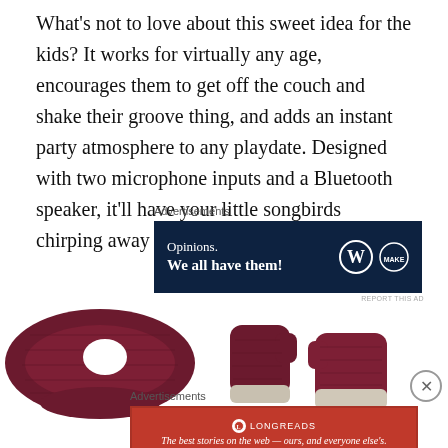What's not to love about this sweet idea for the kids? It works for virtually any age, encourages them to get off the couch and shake their groove thing, and adds an instant party atmosphere to any playdate. Designed with two microphone inputs and a Bluetooth speaker, it'll have your little songbirds chirping away the day.
[Figure (other): Advertisement banner: dark navy background with text 'Opinions. We all have them!' and WordPress and Jetpack/Deno logos on the right side]
[Figure (photo): Product photo of dark burgundy/maroon knit scarf on the left and two dark burgundy knit mittens with gray fur trim on the right, on white background]
[Figure (other): Advertisement banner: red background with Longreads logo and text 'The best stories on the web — ours, and everyone else's.']